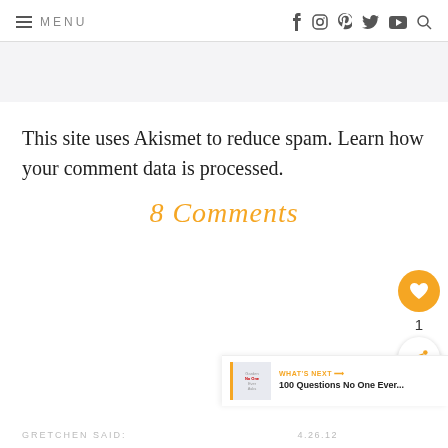MENU | social icons: f, instagram, pinterest, twitter, youtube, search
This site uses Akismet to reduce spam. Learn how your comment data is processed.
8 Comments
GRETCHEN SAID:
4.26.12
WHAT'S NEXT → 100 Questions No One Ever...